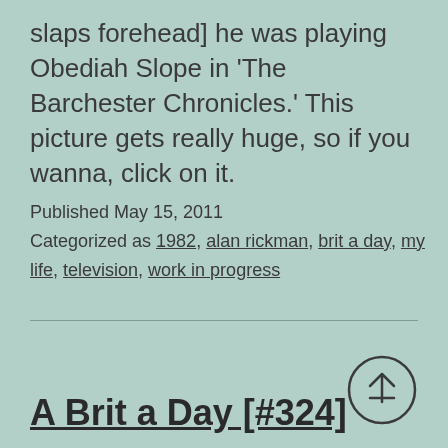slaps forehead] he was playing Obediah Slope in 'The Barchester Chronicles.' This picture gets really huge, so if you wanna, click on it.
Published May 15, 2011
Categorized as 1982, alan rickman, brit a day, my life, television, work in progress
A Brit a Day [#324]